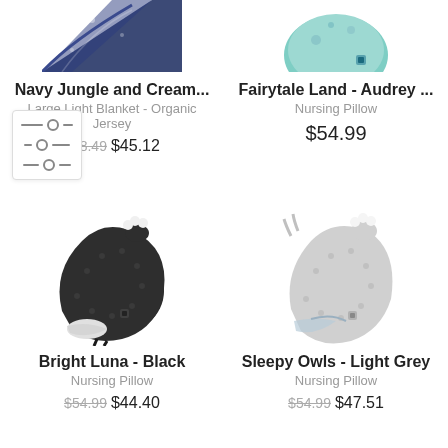[Figure (photo): Navy Jungle and Cream blanket product image, partially cropped at top]
Navy Jungle and Cream...
Large Light Blanket - Organic Jersey
$88.49 $45.12
[Figure (photo): Fairytale Land - Audrey nursing pillow, partially cropped at top]
Fairytale Land - Audrey ...
Nursing Pillow
$54.99
[Figure (photo): Bright Luna Black nursing pillow shaped like a chicken, dark charcoal color]
Bright Luna - Black
Nursing Pillow
$54.99 $44.40
[Figure (photo): Sleepy Owls Light Grey nursing pillow shaped like a chicken, light grey color]
Sleepy Owls - Light Grey
Nursing Pillow
$54.99 $47.51